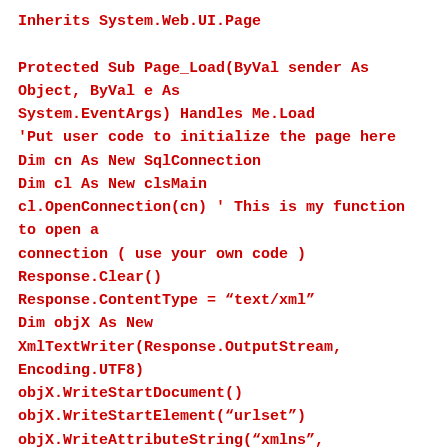Inherits System.Web.UI.Page

Protected Sub Page_Load(ByVal sender As Object, ByVal e As System.EventArgs) Handles Me.Load
'Put user code to initialize the page here
Dim cn As New SqlConnection
Dim cl As New clsMain
cl.OpenConnection(cn) ' This is my function to open a connection ( use your own code )
Response.Clear()
Response.ContentType = "text/xml"
Dim objX As New XmlTextWriter(Response.OutputStream, Encoding.UTF8)
objX.WriteStartDocument()
objX.WriteStartElement("urlset")
objX.WriteAttributeString("xmlns", "http://www.google.com/schemas/sitemap/0.84")

' handles database connection string and command